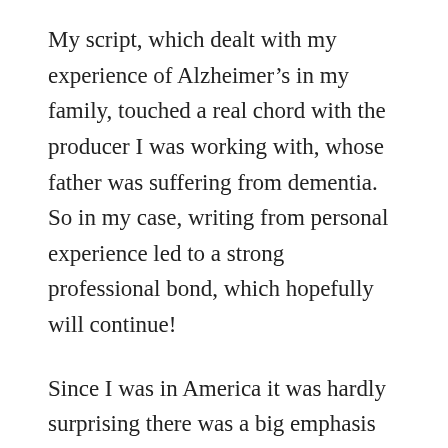My script, which dealt with my experience of Alzheimer’s in my family, touched a real chord with the producer I was working with, whose father was suffering from dementia. So in my case, writing from personal experience led to a strong professional bond, which hopefully will continue!
Since I was in America it was hardly surprising there was a big emphasis on pitching. Don’t go into a general meeting in the US without a carefully honed and well rehearsed pitch! No off the cuff ad-libbing allowed. At...